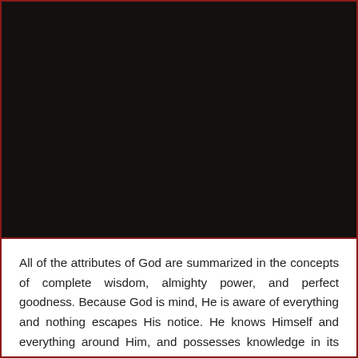[Figure (photo): Dark/black image occupying the upper portion of the page, almost entirely black with very subtle dark reddish-brown tones.]
All of the attributes of God are summarized in the concepts of complete wisdom, almighty power, and perfect goodness. Because God is mind, He is aware of everything and nothing escapes His notice. He knows Himself and everything around Him, and possesses knowledge in its fullness, a perfect mental image of Himself